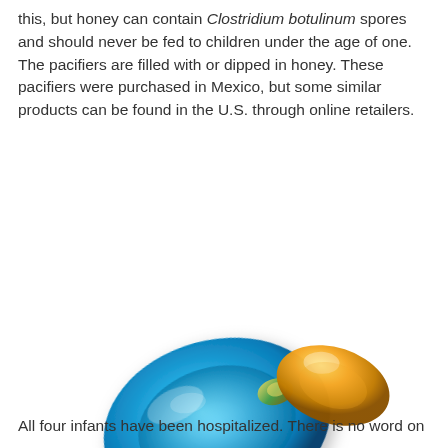this, but honey can contain Clostridium botulinum spores and should never be fed to children under the age of one. The pacifiers are filled with or dipped in honey. These pacifiers were purchased in Mexico, but some similar products can be found in the U.S. through online retailers.
[Figure (photo): A 3D rendered image of a blue transparent baby pacifier with a yellow/amber honey-filled nipple, tilted at an angle against a white background.]
djmilic/iStock/Getty Images Plus+
All four infants have been hospitalized. There is no word on